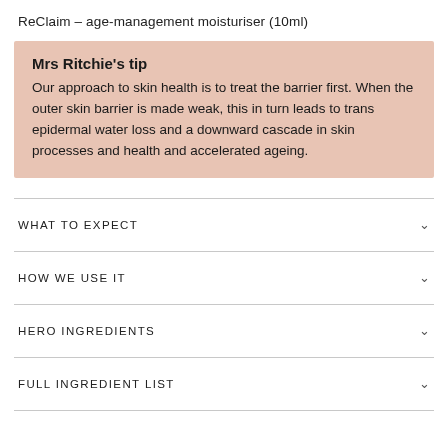ReClaim – age-management moisturiser (10ml)
Mrs Ritchie's tip
Our approach to skin health is to treat the barrier first. When the outer skin barrier is made weak, this in turn leads to trans epidermal water loss and a downward cascade in skin processes and health and accelerated ageing.
WHAT TO EXPECT
HOW WE USE IT
HERO INGREDIENTS
FULL INGREDIENT LIST